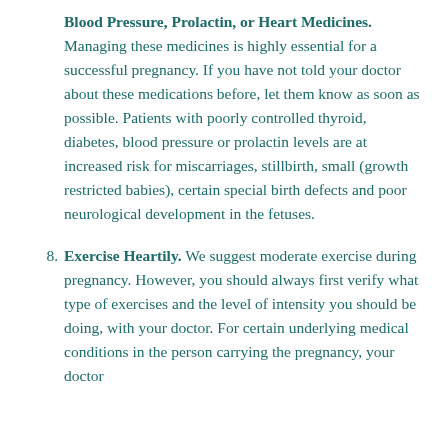Blood Pressure, Prolactin, or Heart Medicines. Managing these medicines is highly essential for a successful pregnancy. If you have not told your doctor about these medications before, let them know as soon as possible. Patients with poorly controlled thyroid, diabetes, blood pressure or prolactin levels are at increased risk for miscarriages, stillbirth, small (growth restricted babies), certain special birth defects and poor neurological development in the fetuses.
8. Exercise Heartily. We suggest moderate exercise during pregnancy. However, you should always first verify what type of exercises and the level of intensity you should be doing, with your doctor. For certain underlying medical conditions in the person carrying the pregnancy, your doctor